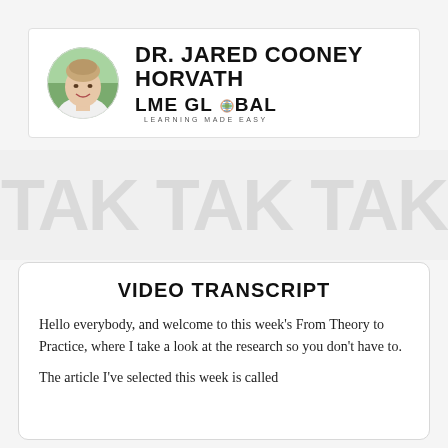[Figure (photo): Circular profile photo of Dr. Jared Cooney Horvath, a smiling man with short hair, outdoors with blurred green background]
DR. JARED COONEY HORVATH
[Figure (logo): LME GLOBAL logo with globe icon and tagline LEARNING MADE EASY]
[Figure (illustration): Watermark/background pattern with large faded text letters]
VIDEO TRANSCRIPT
Hello everybody, and welcome to this week's From Theory to Practice, where I take a look at the research so you don't have to.
The article I've selected this week is called